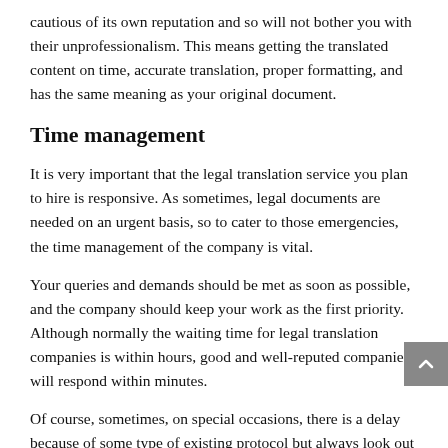cautious of its own reputation and so will not bother you with their unprofessionalism. This means getting the translated content on time, accurate translation, proper formatting, and has the same meaning as your original document.
Time management
It is very important that the legal translation service you plan to hire is responsive. As sometimes, legal documents are needed on an urgent basis, so to cater to those emergencies, the time management of the company is vital.
Your queries and demands should be met as soon as possible, and the company should keep your work as the first priority. Although normally the waiting time for legal translation companies is within hours, good and well-reputed companies will respond within minutes.
Of course, sometimes, on special occasions, there is a delay because of some type of existing protocol but always look out for unprofessional translation companies that cause an